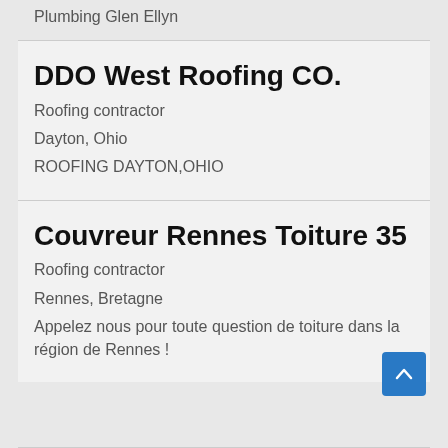Plumbing Glen Ellyn
DDO West Roofing CO.
Roofing contractor
Dayton, Ohio
ROOFING DAYTON,OHIO
Couvreur Rennes Toiture 35
Roofing contractor
Rennes, Bretagne
Appelez nous pour toute question de toiture dans la région de Rennes !